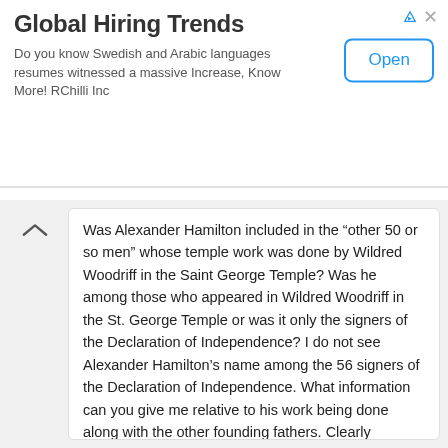[Figure (infographic): Advertisement banner for 'Global Hiring Trends' by RChilli Inc with an Open button, close (x) icon, and ad triangle icon]
Was Alexander Hamilton included in the “other 50 or so men” whose temple work was done by Wildred Woodriff in the Saint George Temple? Was he among those who appeared in Wildred Woodriff in the St. George Temple or was it only the signers of the Declaration of Independence? I do not see Alexander Hamilton’s name among the 56 signers of the Declaration of Independence. What information can you give me relative to his work being done along with the other founding fathers. Clearly Alexander Hamilton is among the founding fathers.